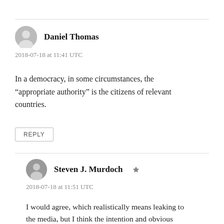Daniel Thomas
2018-07-18 at 11:41 UTC
In a democracy, in some circumstances, the “appropriate authority” is the citizens of relevant countries.
REPLY
Steven J. Murdoch
2018-07-18 at 11:51 UTC
I would agree, which realistically means leaking to the media, but I think the intention and obvious interpretation of the code is that such an option is not permitted. The ACM Code doesn’t have much by way of enforcement, but we can say, over this